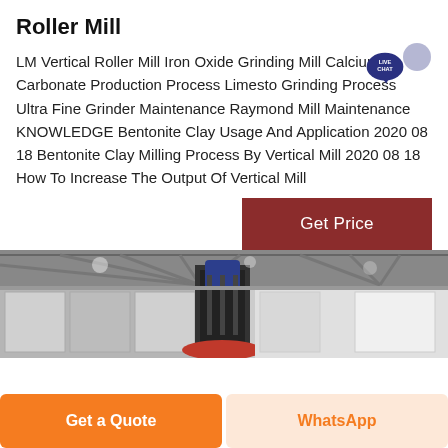Roller Mill
LM Vertical Roller Mill Iron Oxide Grinding Mill Calcium Carbonate Production Process Limestone Grinding Process Ultra Fine Grinder Maintenance Raymond Mill Maintenance KNOWLEDGE Bentonite Clay Usage And Application 2020 08 18 Bentonite Clay Milling Process By Vertical Mill 2020 08 18 How To Increase The Output Of Vertical Mill
[Figure (screenshot): LIVE CHAT bubble icon in dark navy blue circle with speech bubble]
[Figure (screenshot): Get Price button in dark red/maroon color]
[Figure (photo): Industrial interior photo showing a large vertical roller mill machine inside a factory building with steel roof trusses]
Get a Quote
WhatsApp